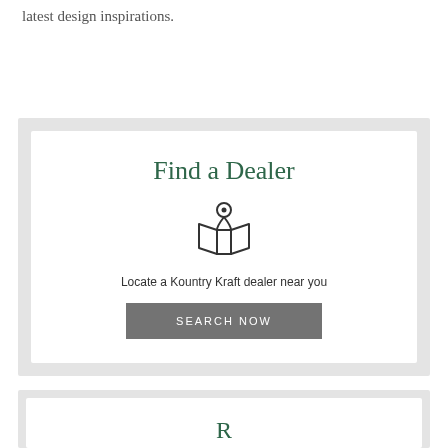latest design inspirations.
[Figure (infographic): Find a Dealer card with map pin icon, text 'Locate a Kountry Kraft dealer near you', and a SEARCH NOW button]
[Figure (infographic): Partially visible second card at bottom of page]